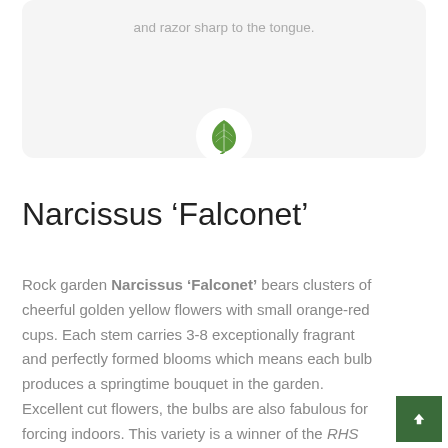and razor sharp to the tongue.
[Figure (illustration): Green leaf plant icon in a white circle, positioned over a light grey card background]
Narcissus 'Falconet'
Rock garden Narcissus 'Falconet' bears clusters of cheerful golden yellow flowers with small orange-red cups. Each stem carries 3-8 exceptionally fragrant and perfectly formed blooms which means each bulb produces a springtime bouquet in the garden. Excellent cut flowers, the bulbs are also fabulous for forcing indoors. This variety is a winner of the RHS Award